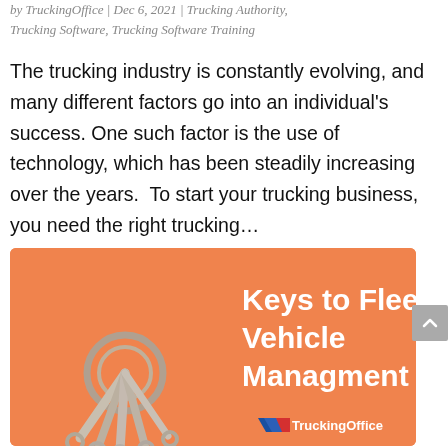by TruckingOffice | Dec 6, 2021 | Trucking Authority, Trucking Software, Trucking Software Training
The trucking industry is constantly evolving, and many different factors go into an individual's success. One such factor is the use of technology, which has been steadily increasing over the years.  To start your trucking business, you need the right trucking…
[Figure (illustration): Orange promotional image with text 'Keys to Fleet Vehicle Managment' and a photo of car keys, with TruckingOffice logo at bottom right]